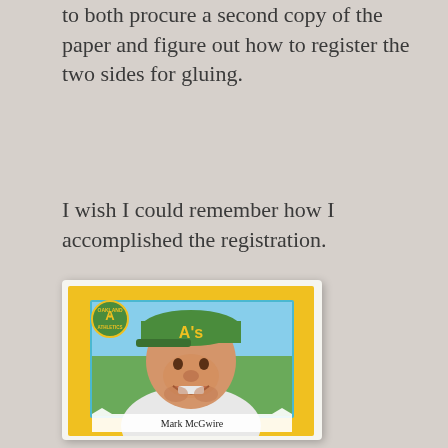to both procure a second copy of the paper and figure out how to register the two sides for gluing.
I wish I could remember how I accomplished the registration.
[Figure (photo): A vintage baseball card featuring Mark McGwire wearing an Oakland Athletics green cap with 'A's' on it. The card has a yellow border and includes the Oakland Athletics circular logo in the top left. The player's name 'Mark McGwire' is displayed at the bottom of the card.]